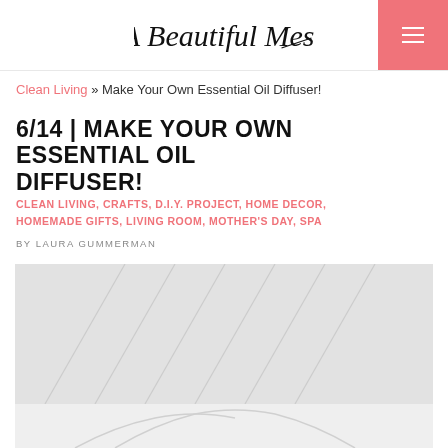A Beautiful Mess
Clean Living » Make Your Own Essential Oil Diffuser!
6/14 | MAKE YOUR OWN ESSENTIAL OIL DIFFUSER!
CLEAN LIVING, CRAFTS, D.I.Y. PROJECT, HOME DECOR, HOMEMADE GIFTS, LIVING ROOM, MOTHER'S DAY, SPA
BY LAURA GUMMERMAN
[Figure (photo): Large hero image showing DIY essential oil diffuser content, light gray background with subtle decorative pattern]